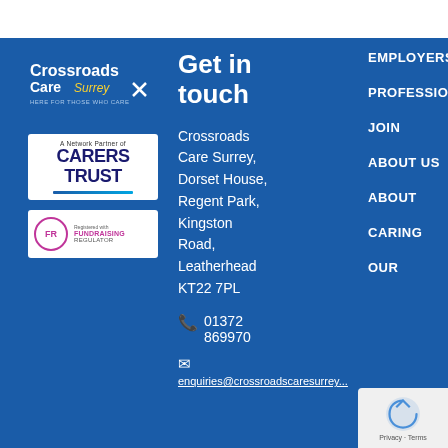[Figure (logo): Crossroads Care Surrey logo with tagline 'Here for those who care']
[Figure (logo): A Network Partner of Carers Trust logo]
[Figure (logo): Registered with Fundraising Regulator logo]
Get in touch
Crossroads Care Surrey, Dorset House, Regent Park, Kingston Road, Leatherhead KT22 7PL
01372 869970
enquiries@crossroadscaresurrey...
EMPLOYERS
PROFESSIONALS
JOIN
ABOUT US
ABOUT
CARING
OUR